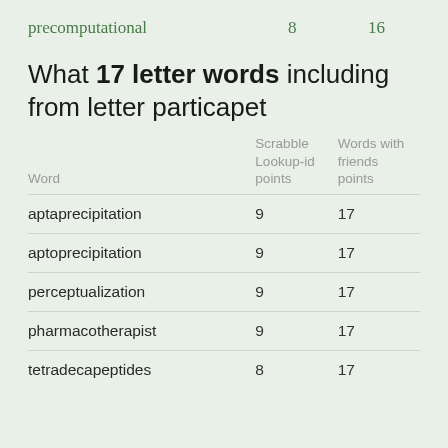| Word | Scrabble Lookup-id points | Words with friends points |
| --- | --- | --- |
| precomputational | 8 | 16 |
What 17 letter words including from letter particapet
| Word | Scrabble Lookup-id points | Words with friends points |
| --- | --- | --- |
| aptaprecipitation | 9 | 17 |
| aptoprecipitation | 9 | 17 |
| perceptualization | 9 | 17 |
| pharmacotherapist | 9 | 17 |
| tetradecapeptides | 8 | 17 |